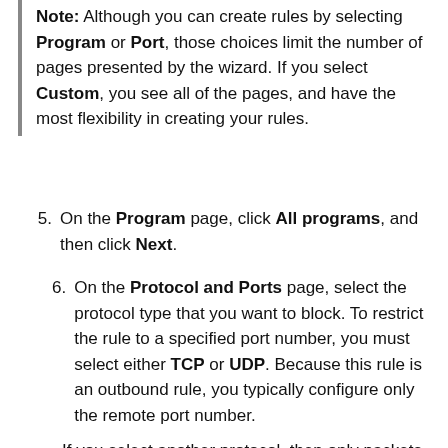Note: Although you can create rules by selecting Program or Port, those choices limit the number of pages presented by the wizard. If you select Custom, you see all of the pages, and have the most flexibility in creating your rules.
5. On the Program page, click All programs, and then click Next.
6. On the Protocol and Ports page, select the protocol type that you want to block. To restrict the rule to a specified port number, you must select either TCP or UDP. Because this rule is an outbound rule, you typically configure only the remote port number.

If you select another protocol, then only packets whose protocol field in the IP header matches this rule are blocked by Windows Defender Firewall. Network traffic for protocols is allowed as long as other rules...